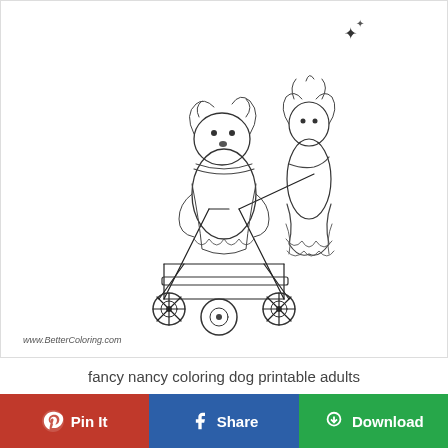[Figure (illustration): A line-art coloring page illustration showing a fancy-dressed dog (likely a poodle) in Victorian-style clothes sitting in a baby pram/stroller, with a girl figure in a ruffled dress pushing it. Black and white outline art suitable for coloring. Watermark: www.BetterColoring.com]
fancy nancy coloring dog printable adults
Pin It
Share
Download